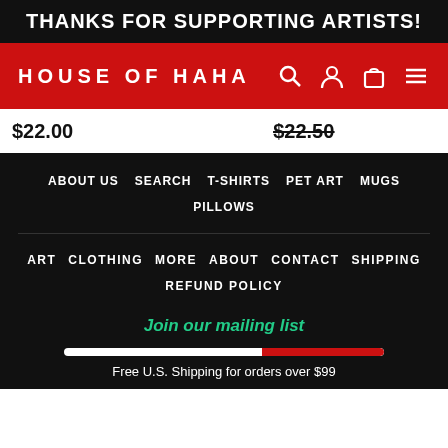THANKS FOR SUPPORTING ARTISTS!
HOUSE OF HAHA
$22.00    $22.50
ABOUT US
SEARCH
T-SHIRTS
PET ART
MUGS
PILLOWS
ART
CLOTHING
MORE
ABOUT
CONTACT
SHIPPING
REFUND POLICY
Join our mailing list
Free U.S. Shipping for orders over $99